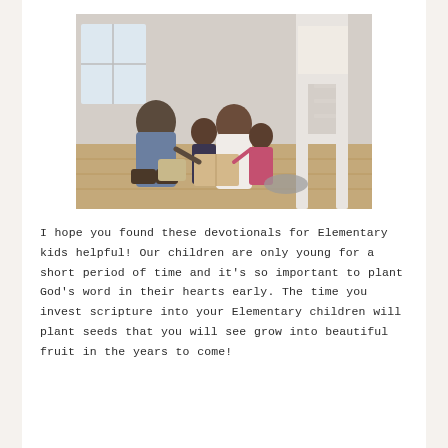[Figure (photo): A family — parents and two young children — sitting on a hardwood floor together reading a book, leaning against a white bunk bed in a bedroom.]
I hope you found these devotionals for Elementary kids helpful! Our children are only young for a short period of time and it's so important to plant God's word in their hearts early. The time you invest scripture into your Elementary children will plant seeds that you will see grow into beautiful fruit in the years to come!